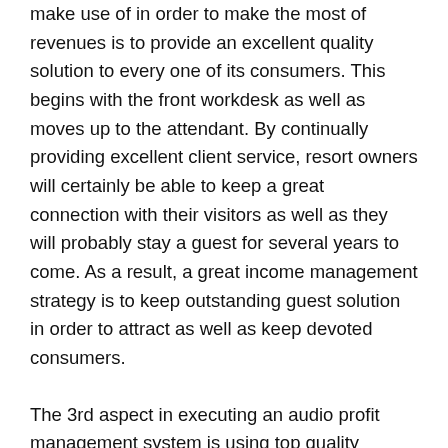make use of in order to make the most of revenues is to provide an excellent quality solution to every one of its consumers. This begins with the front workdesk as well as moves up to the attendant. By continually providing excellent client service, resort owners will certainly be able to keep a great connection with their visitors as well as they will probably stay a guest for several years to come. As a result, a great income management strategy is to keep outstanding guest solution in order to attract as well as keep devoted consumers.
The 3rd aspect in executing an audio profit management system is using top quality metrics for tracking development. Several business offer Metric RevPar software products that work with several types of CRM systems. By using these software products, hotel owners can determine which vital performance indicators (KPIs) are producing the results that they require in order to enhance the earnings of their service. By establishing